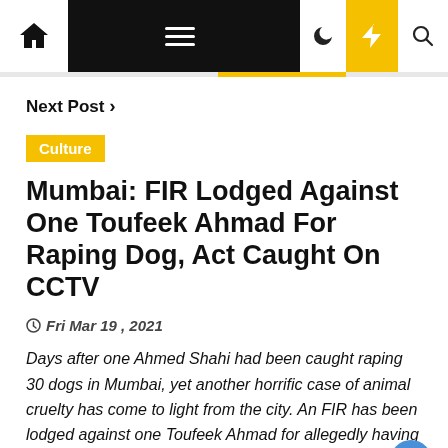Navigation bar with home, menu, moon, bolt, and search icons
Next Post >
Culture
Mumbai: FIR Lodged Against One Toufeek Ahmad For Raping Dog, Act Caught On CCTV
Fri Mar 19 , 2021
Days after one Ahmed Shahi had been caught raping 30 dogs in Mumbai, yet another horrific case of animal cruelty has come to light from the city. An FIR has been lodged against one Toufeek Ahmad for allegedly having "unnatural sex" with a dog. His act was caught